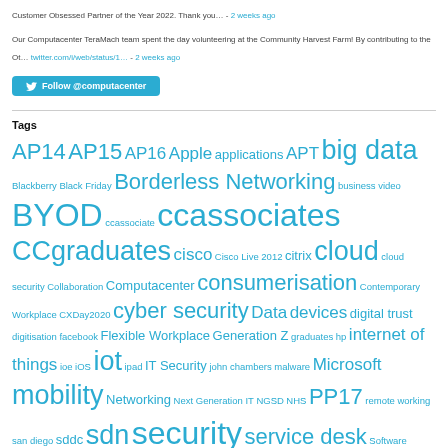Customer Obsessed Partner of the Year 2022. Thank you… - 2 weeks ago
Our Computacenter TeraMach team spent the day volunteering at the Community Harvest Farm! By contributing to the Ot… twitter.com/i/web/status/1… - 2 weeks ago
Follow @computacenter
Tags
AP14 AP15 AP16 Apple applications APT big data Blackberry Black Friday Borderless Networking business video BYOD ccassociate ccassociates CCgraduates cisco Cisco Live 2012 citrix cloud cloud security Collaboration Computacenter consumerisation Contemporary Workplace CXDay2020 cyber security Data devices digital trust digitisation facebook Flexible Workplace Generation Z graduates hp internet of things ioe iOS iot ipad IT Security john chambers malware Microsoft mobility Networking Next Generation IT NGSD NHS PP17 remote working san diego sddc sdn security service desk Software Software Defined software defined networking Storage Technology uc Ultrabook Unified Communications video Virtualisation vmware wifi Windows windows 7 Windows 8